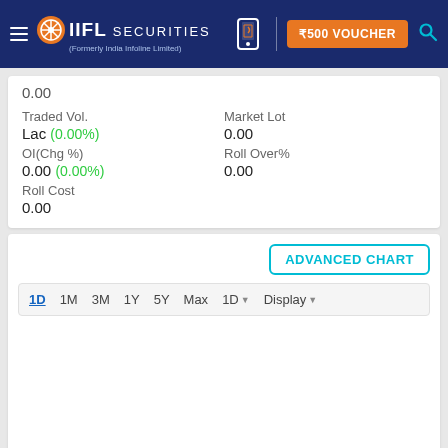IIFL SECURITIES (Formerly India Infoline Limited) | ₹500 VOUCHER
0.00
Traded Vol.
Lac (0.00%)
OI(Chg %)
0.00 (0.00%)
Roll Cost
0.00

Market Lot
0.00
Roll Over%
0.00
[Figure (screenshot): ADVANCED CHART button with chart time period selector (1D selected, 1M, 3M, 1Y, 5Y, Max) and display dropdown. Empty chart area below.]